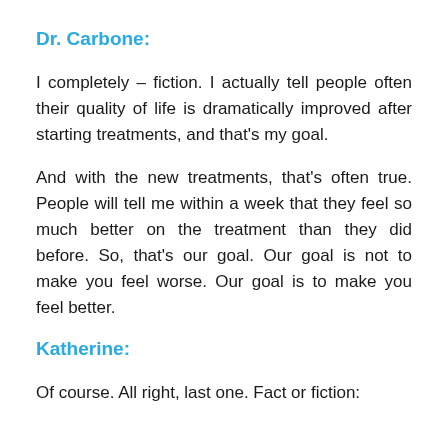Dr. Carbone:
I completely – fiction. I actually tell people often their quality of life is dramatically improved after starting treatments, and that's my goal.
And with the new treatments, that's often true. People will tell me within a week that they feel so much better on the treatment than they did before. So, that's our goal. Our goal is not to make you feel worse. Our goal is to make you feel better.
Katherine:
Of course. All right, last one. Fact or fiction: